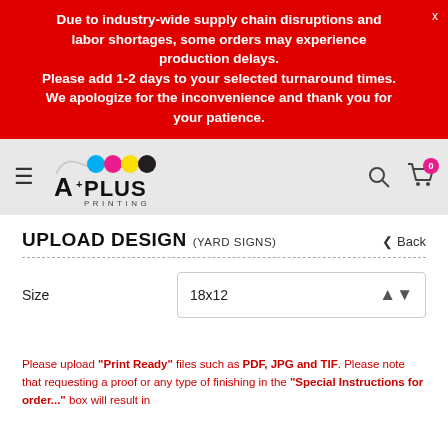Due to industry-wide supply chain disruptions and labor shortages, some orders may experience production delays. Please add 1-2 days to your selected turnaround times. We apologize for the inconvenience and thank you for your patience.
[Figure (logo): A Plus Printing logo with CMYK color dots and company name]
UPLOAD DESIGN (YARD SIGNS)
< Back
Size  18x12
Please upload "Print Ready" files such as PDF, JPG and TIF. Please note that requesting a proof or any type of finishing in the "Special Instructions for order..." box will result in